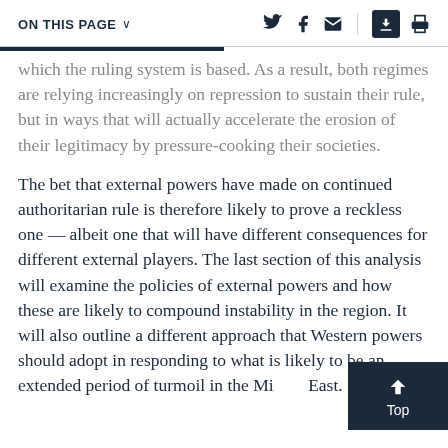ON THIS PAGE ∨
which the ruling system is based. As a result, both regimes are relying increasingly on repression to sustain their rule, but in ways that will actually accelerate the erosion of their legitimacy by pressure-cooking their societies.
The bet that external powers have made on continued authoritarian rule is therefore likely to prove a reckless one — albeit one that will have different consequences for different external players. The last section of this analysis will examine the policies of external powers and how these are likely to compound instability in the region. It will also outline a different approach that Western powers should adopt in responding to what is likely to be an extended period of turmoil in the Middle East.